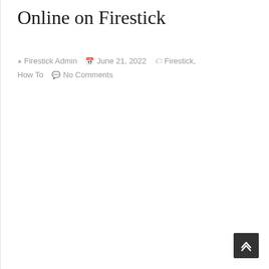Online on Firestick
Firestick Admin   June 21, 2022   Firestick, How To   No Comments